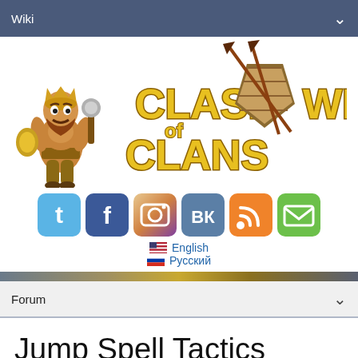Wiki
[Figure (logo): Clash of Clans Wiki logo with barbarian king character and golden stylized text]
[Figure (infographic): Social media icon buttons: Twitter (blue), Facebook (dark blue), Instagram (camera), VK (blue), RSS (orange), Email (green)]
🇺🇸 English
🇷🇺 Русский
Forum
Jump Spell Tactics